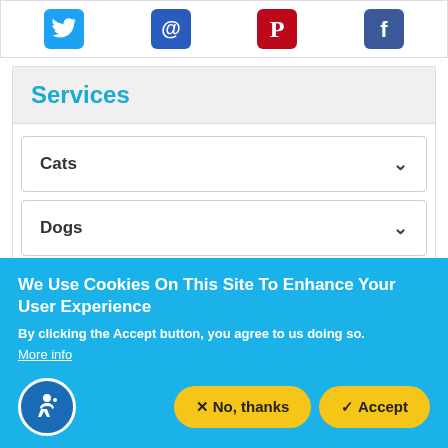[Figure (other): Row of social media icons: Twitter (blue bird), Email @ (blue), Pinterest (red P), Facebook (blue f)]
Services
Cats (accordion, collapsed)
Dogs (accordion, collapsed)
We Use Cookies On This Site To Enhance Your User Experience
By clicking the Accept button, you agree to us doing so.
More info